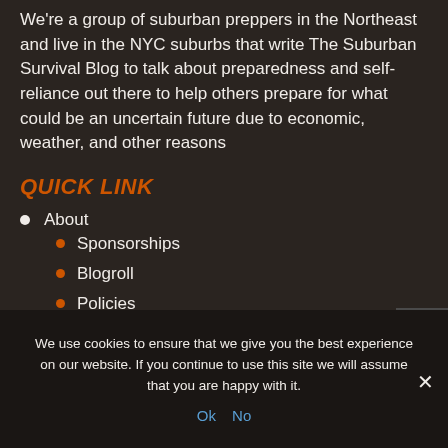We're a group of suburban preppers in the Northeast and live in the NYC suburbs that write The Suburban Survival Blog to talk about preparedness and self-reliance out there to help others prepare for what could be an uncertain future due to economic, weather, and other reasons
QUICK LINK
About
Sponsorships
Blogroll
Policies
We use cookies to ensure that we give you the best experience on our website. If you continue to use this site we will assume that you are happy with it.
Ok  No